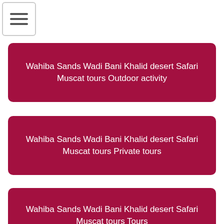[Figure (other): Hamburger menu button icon with three horizontal lines]
Wahiba Sands Wadi Bani Khalid desert Safari Muscat tours Outdoor activity
Wahiba Sands Wadi Bani Khalid desert Safari Muscat tours Private tours
Wahiba Sands Wadi Bani Khalid desert Safari Muscat tours Tours
Wahiba Sands Wadi Bani Khalid desert Safari Muscat tours Wedding Honeymoon